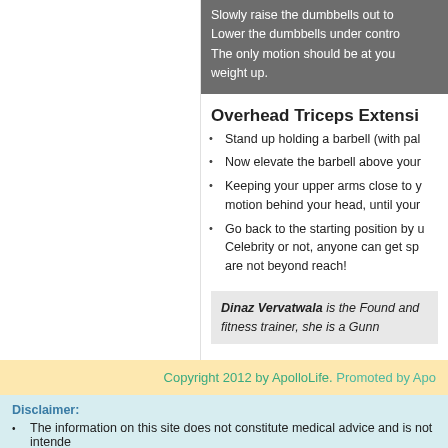Slowly raise the dumbbells out to… Lower the dumbbells under contro… The only motion should be at your… weight up.
Overhead Triceps Extensi…
Stand up holding a barbell (with pal…
Now elevate the barbell above your…
Keeping your upper arms close to y… motion behind your head, until your…
Go back to the starting position by u… Celebrity or not, anyone can get sp… are not beyond reach!
Dinaz Vervatwala is the Found… and fitness trainer, she is a Gunn…
Copyright 2012 by ApolloLife. Promoted by Apo…
Disclaimer:
The information on this site does not constitute medical advice and is not intende…
See additional information.